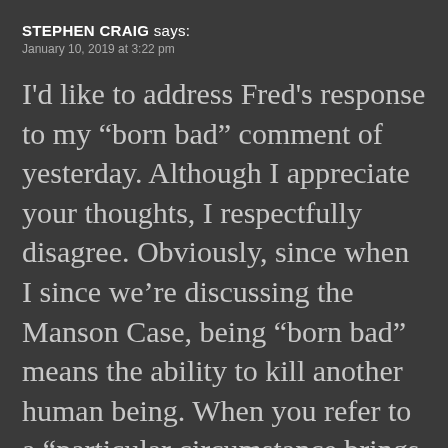STEPHEN CRAIG says:
January 10, 2019 at 3:22 pm
I'd like to address Fred's response to my “born bad” comment of yesterday. Although I appreciate your thoughts, I respectfully disagree. Obviously, since when I since we’re discussing the Manson Case, being “born bad” means the ability to kill another human being. When you refer to a “particular circumstance brings out a particular action in a person, you